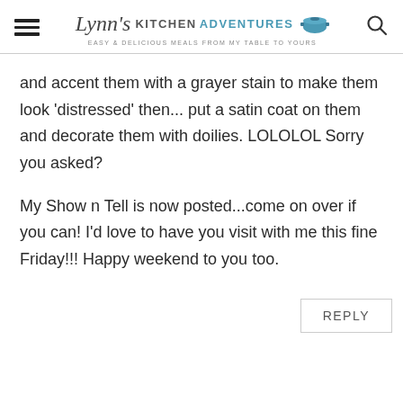Lynn's Kitchen Adventures – Easy & Delicious Meals From My Table To Yours
and accent them with a grayer stain to make them look 'distressed' then... put a satin coat on them and decorate them with doilies. LOLOLOL Sorry you asked?
My Show n Tell is now posted...come on over if you can! I'd love to have you visit with me this fine Friday!!! Happy weekend to you too.
REPLY